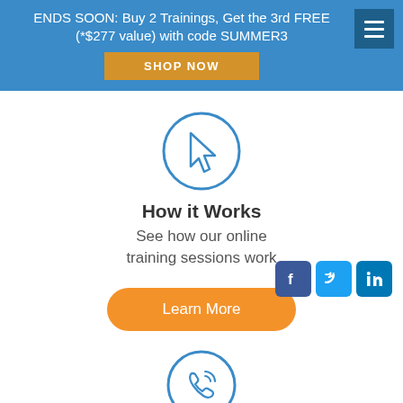ENDS SOON: Buy 2 Trainings, Get the 3rd FREE (*$277 value) with code SUMMER3
SHOP NOW
[Figure (illustration): Cursor/pointer icon inside a blue circle]
How it Works
See how our online training sessions work
Learn More
[Figure (illustration): Phone/call icon inside a blue circle]
[Figure (infographic): Social media icons: Facebook (blue), Twitter (blue), LinkedIn (blue)]